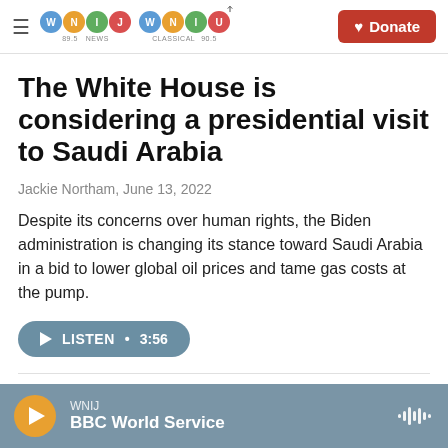WNIJ NEWS 89.5 | WNIU CLASSICAL 90.5 | Donate
The White House is considering a presidential visit to Saudi Arabia
Jackie Northam, June 13, 2022
Despite its concerns over human rights, the Biden administration is changing its stance toward Saudi Arabia in a bid to lower global oil prices and tame gas costs at the pump.
LISTEN • 3:56
WNIJ BBC World Service